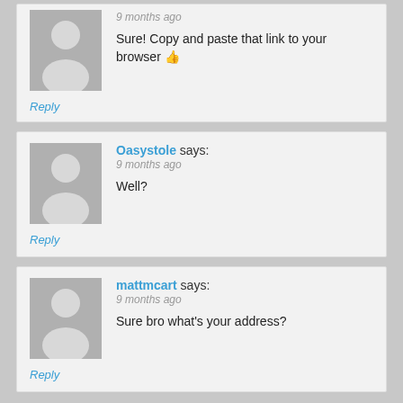9 months ago
Sure! Copy and paste that link to your browser 👍
Reply
Oasystole says:
9 months ago
Well?
Reply
mattmcart says:
9 months ago
Sure bro what's your address?
Reply